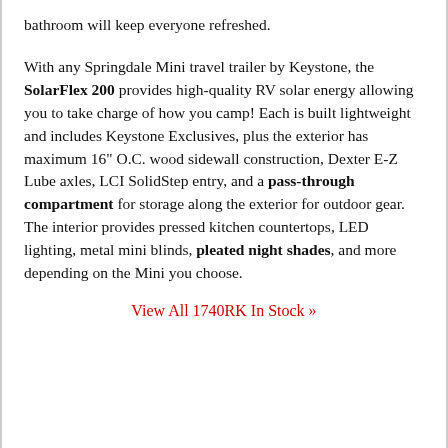bathroom will keep everyone refreshed.
With any Springdale Mini travel trailer by Keystone, the SolarFlex 200 provides high-quality RV solar energy allowing you to take charge of how you camp! Each is built lightweight and includes Keystone Exclusives, plus the exterior has maximum 16" O.C. wood sidewall construction, Dexter E-Z Lube axles, LCI SolidStep entry, and a pass-through compartment for storage along the exterior for outdoor gear. The interior provides pressed kitchen countertops, LED lighting, metal mini blinds, pleated night shades, and more depending on the Mini you choose.
View All 1740RK In Stock »